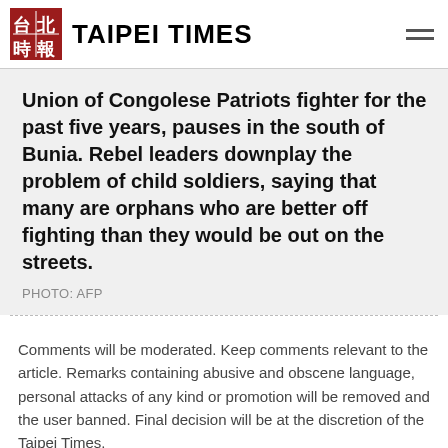TAIPEI TIMES
Union of Congolese Patriots fighter for the past five years, pauses in the south of Bunia. Rebel leaders downplay the problem of child soldiers, saying that many are orphans who are better off fighting than they would be out on the streets.
PHOTO: AFP
Comments will be moderated. Keep comments relevant to the article. Remarks containing abusive and obscene language, personal attacks of any kind or promotion will be removed and the user banned. Final decision will be at the discretion of the Taipei Times.